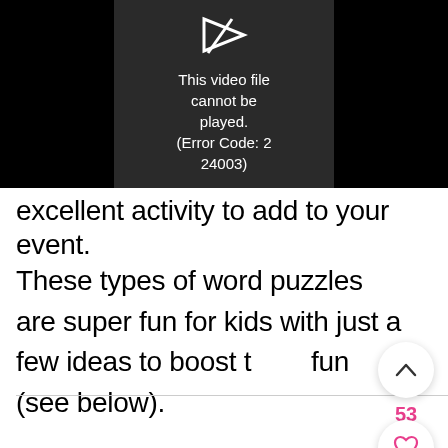[Figure (screenshot): Video player showing error message: 'This video file cannot be played. (Error Code: 2 24003)' with a broken video icon on dark background]
excellent activity to add to your event. These types of word puzzles are super fun for kids with just a few ideas to boost the fun (see below).